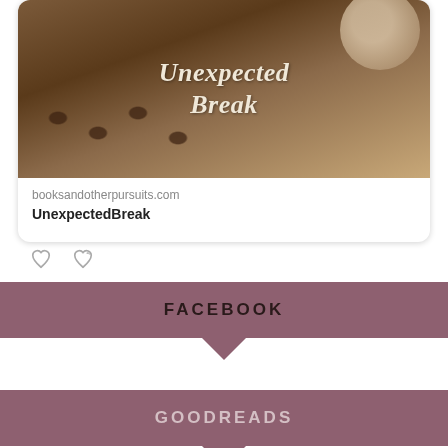[Figure (screenshot): Social media card showing a blog post preview with a coffee/dark background image overlaid with italic text 'Unexpected Break', below which is the URL 'booksandotherpursuits.com' and the title 'UnexpectedBreak']
booksandotherpursuits.com
UnexpectedBreak
FACEBOOK
GOODREADS